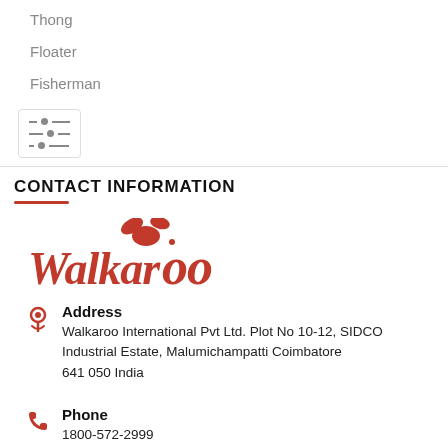Thong
Floater
Fisherman
[Figure (other): Filter/settings icon button inside a bordered box]
CONTACT INFORMATION
[Figure (logo): Walkaroo brand logo in red with a stylized kangaroo icon]
Address
Walkaroo International Pvt Ltd. Plot No 10-12, SIDCO Industrial Estate, Malumichampatti Coimbatore
641 050 India
Phone
1800-572-2999